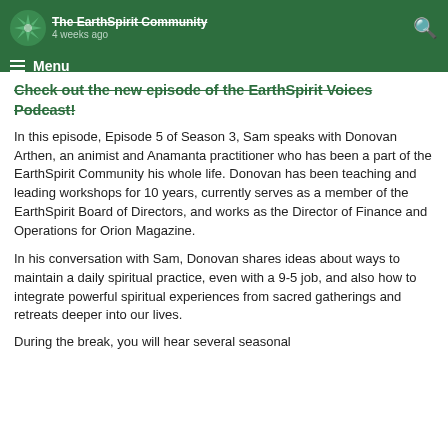The EarthSpirit Community
4 weeks ago
Check out the new episode of the EarthSpirit Voices Podcast!
In this episode, Episode 5 of Season 3, Sam speaks with Donovan Arthen, an animist and Anamanta practitioner who has been a part of the EarthSpirit Community his whole life. Donovan has been teaching and leading workshops for 10 years, currently serves as a member of the EarthSpirit Board of Directors, and works as the Director of Finance and Operations for Orion Magazine.
In his conversation with Sam, Donovan shares ideas about ways to maintain a daily spiritual practice, even with a 9-5 job, and also how to integrate powerful spiritual experiences from sacred gatherings and retreats deeper into our lives.
During the break, you will hear several seasonal